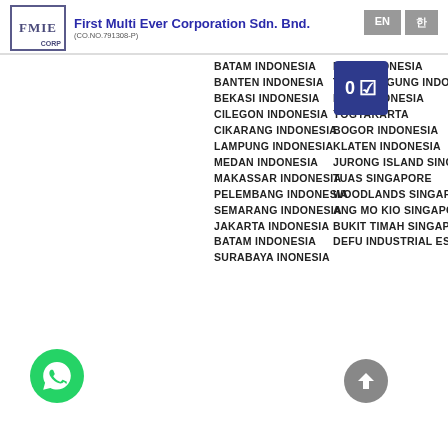First Multi Ever Corporation Sdn. Bnd. (CO.NO.791308-P) | EN
BATAM INDONESIA
BANTEN INDONESIA
BEKASI INDONESIA
CILEGON INDONESIA
CIKARANG INDONESIA
LAMPUNG INDONESIA
MEDAN INDONESIA
MAKASSAR INDONESIA
PELEMBANG INDONESIA
SEMARANG INDONESIA
JAKARTA INDONESIA
BATAM INDONESIA
SURABAYA INONESIA
BALI INDONESIA
TULUNGAGUNG INDONESIA
RIAU INDONESIA
YOGYAKARTA
BOGOR INDONESIA
KLATEN INDONESIA
JURONG ISLAND SINGAPORE
TUAS SINGAPORE
WOODLANDS SINGAPORE
ANG MO KIO SINGAPORE
BUKIT TIMAH SINGAPORE
DEFU INDUSTRIAL ESTATE